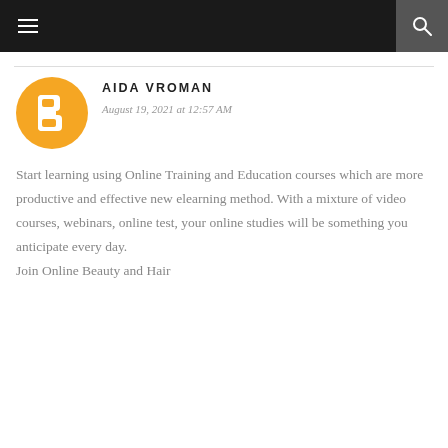Navigation bar with menu and search icons
AIDA VROMAN
August 19, 2021 at 12:57 AM
Start learning using Online Training and Education courses which are more productive and effective new elearning method. With a mixture of video courses, webinars, online test, your online studies will be something you anticipate every day. Join Online Beauty and Hair